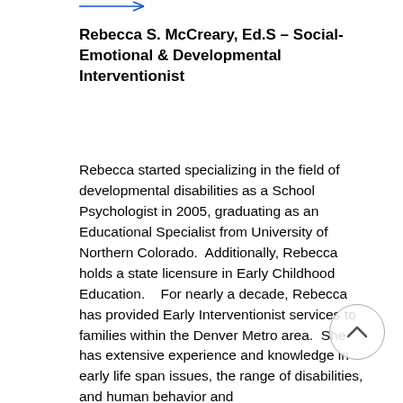─────────|→
Rebecca S. McCreary, Ed.S – Social-Emotional & Developmental Interventionist
Rebecca started specializing in the field of developmental disabilities as a School Psychologist in 2005, graduating as an Educational Specialist from University of Northern Colorado.  Additionally, Rebecca holds a state licensure in Early Childhood Education.   For nearly a decade, Rebecca has provided Early Interventionist services to families within the Denver Metro area.  She has extensive experience and knowledge in early life span issues, the range of disabilities, and human behavior and